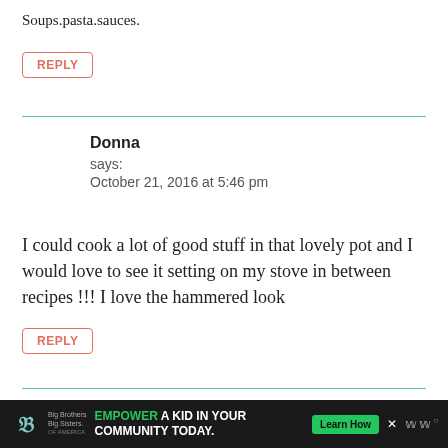Soups.pasta.sauces.
REPLY
Donna
says:
October 21, 2016 at 5:46 pm
I could cook a lot of good stuff in that lovely pot and I would love to see it setting on my stove in between recipes !!! I love the hammered look
REPLY
[Figure (infographic): Advertisement banner: Big Brothers Big Sisters logo on dark background with text 'EMPOWER A KID IN YOUR COMMUNITY TODAY.' and a green 'Learn How' button.]